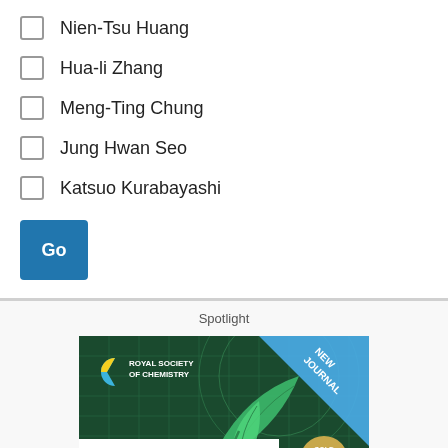Nien-Tsu Huang
Hua-li Zhang
Meng-Ting Chung
Jung Hwan Seo
Katsuo Kurabayashi
Go
Spotlight
[Figure (illustration): Royal Society of Chemistry advertisement for 'Sustainable Food Technology' journal, marked as New Journal and Gold Open Access, with green plant imagery on dark green background.]